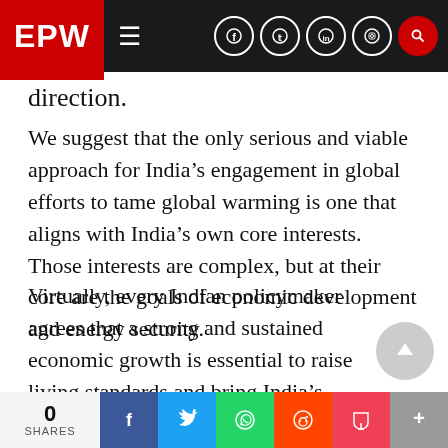EPW navigation bar with logo, hamburger menu, and social icons
direction.
We suggest that the only serious and viable approach for India’s engagement in global efforts to tame global warming is one that aligns with India’s own core interests. Those interests are complex, but at their core are the goals of economic development and energy security.
Virtually, every Indian policymaker agrees that a strong and sustained economic growth is essential to raise living standards and bring India’s masses out of poverty. This belief is reinforced by the change negotiations. The potentially viable
0 SHARES | Share buttons: Facebook, Twitter, WhatsApp, Reddit, Pocket, More